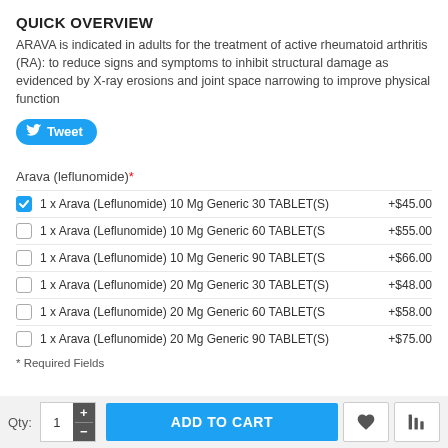QUICK OVERVIEW
ARAVA is indicated in adults for the treatment of active rheumatoid arthritis (RA): to reduce signs and symptoms to inhibit structural damage as evidenced by X-ray erosions and joint space narrowing to improve physical function
[Figure (other): Twitter Tweet button (blue rounded button with bird icon and 'Tweet' label)]
Arava (leflunomide)*
1 x Arava (Leflunomide) 10 Mg Generic 30 TABLET(S)  +$45.00 [checked]
1 x Arava (Leflunomide) 10 Mg Generic 60 TABLET(S  +$55.00
1 x Arava (Leflunomide) 10 Mg Generic 90 TABLET(S  +$66.00
1 x Arava (Leflunomide) 20 Mg Generic 30 TABLET(S)  +$48.00
1 x Arava (Leflunomide) 20 Mg Generic 60 TABLET(S  +$58.00
1 x Arava (Leflunomide) 20 Mg Generic 90 TABLET(S)  +$75.00
* Required Fields